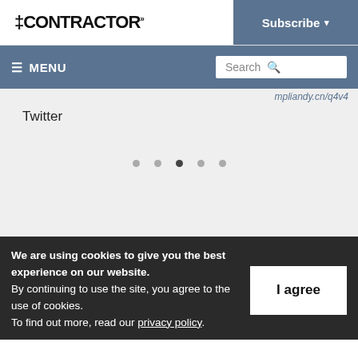ICONTRACTOR
Subscribe
≡ MENU | Search
Twitter
[Figure (other): Carousel navigation dots, 5 dots with the third one active/filled]
We are using cookies to give you the best experience on our website.
By continuing to use the site, you agree to the use of cookies.
To find out more, read our privacy policy.
I agree